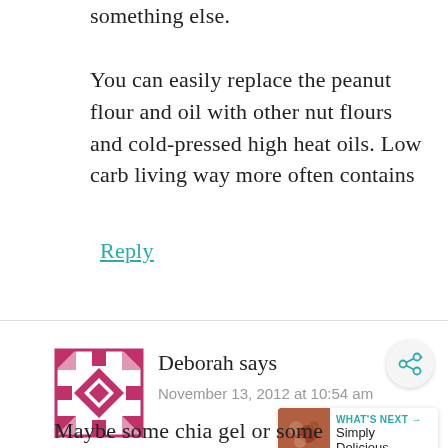something else. You can easily replace the peanut flour and oil with other nut flours and cold-pressed high heat oils. Low carb living way more often contains
Reply
[Figure (illustration): Pink/magenta decorative avatar icon with geometric pattern]
Deborah says
November 13, 2012 at 10:54 am
[Figure (other): Share button circle icon]
[Figure (other): What's Next widget with thumbnail and Simply Delicious... text]
Maybe some chia gel or some